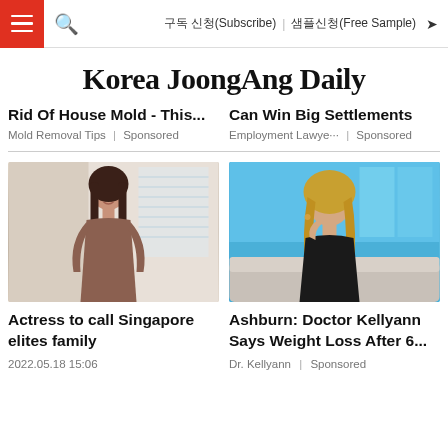Korea JoongAng Daily — nav bar with hamburger menu, search, 구독 신청(Subscribe), 샘플신청(Free Sample), share
Korea JoongAng Daily
Rid Of House Mold - This...
Mold Removal Tips | Sponsored
Can Win Big Settlements
Employment Lawye... | Sponsored
[Figure (photo): Asian woman in brown top standing in modern interior]
Actress to call Singapore elites family
2022.05.18 15:06
[Figure (photo): Blonde woman in black outfit seated in studio setting with blue background, AD badge visible]
Ashburn: Doctor Kellyann Says Weight Loss After 6...
Dr. Kellyann | Sponsored